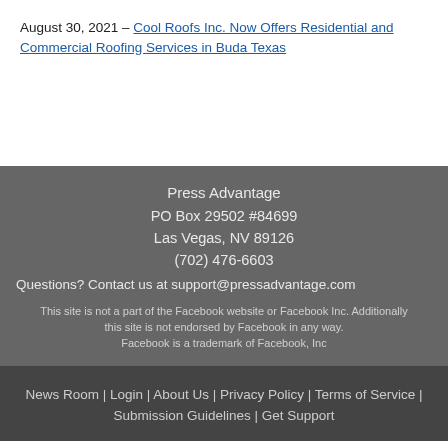August 30, 2021 – Cool Roofs Inc. Now Offers Residential and Commercial Roofing Services in Buda Texas
Press Advantage
PO Box 29502 #84699
Las Vegas, NV 89126
(702) 476-6603
Questions? Contact us at support@pressadvantage.com
This site is not a part of the Facebook website or Facebook Inc. Additionally this site is not endorsed by Facebook in any way. Facebook is a trademark of Facebook, Inc
News Room | Login | About Us | Privacy Policy | Terms of Service | Submission Guidelines | Get Support